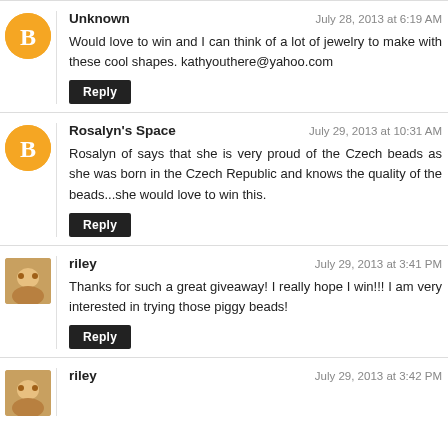Unknown — July 28, 2013 at 6:19 AM
Would love to win and I can think of a lot of jewelry to make with these cool shapes. kathyouthere@yahoo.com
Rosalyn's Space — July 29, 2013 at 10:31 AM
Rosalyn of says that she is very proud of the Czech beads as she was born in the Czech Republic and knows the quality of the beads...she would love to win this.
riley — July 29, 2013 at 3:41 PM
Thanks for such a great giveaway! I really hope I win!!! I am very interested in trying those piggy beads!
riley — July 29, 2013 at 3:42 PM